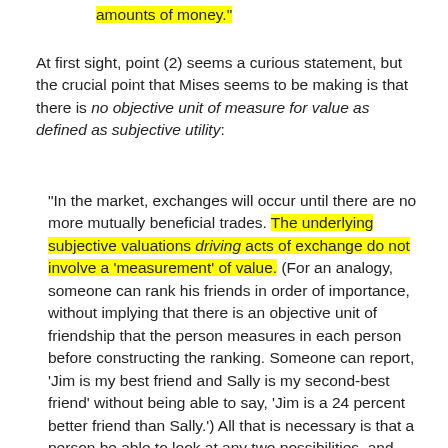amounts of money.”
At first sight, point (2) seems a curious statement, but the crucial point that Mises seems to be making is that there is no objective unit of measure for value as defined as subjective utility:
“In the market, exchanges will occur until there are no more mutually beneficial trades. The underlying subjective valuations driving acts of exchange do not involve a ‘measurement’ of value. (For an analogy, someone can rank his friends in order of importance, without implying that there is an objective unit of friendship that the person measures in each person before constructing the ranking. Someone can report, ‘Jim is my best friend and Sally is my second-best friend’ without being able to say, ‘Jim is a 24 percent better friend than Sally.’) All that is necessary is that a person be able to look at any two possibilities, and decide which he prefers.